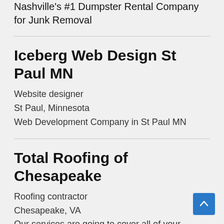Nashville's #1 Dumpster Rental Company for Junk Removal
Iceberg Web Design St Paul MN
Website designer
St Paul, Minnesota
Web Development Company in St Paul MN
Total Roofing of Chesapeake
Roofing contractor
Chesapeake, VA
Our services are going to cover all of your roofing needs. Our team members are fully